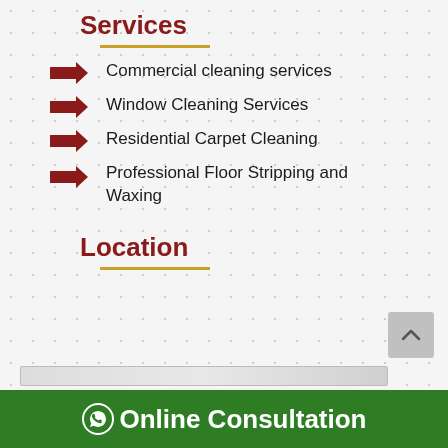Services
Commercial cleaning services
Window Cleaning Services
Residential Carpet Cleaning
Professional Floor Stripping and Waxing
Location
Online Consultation